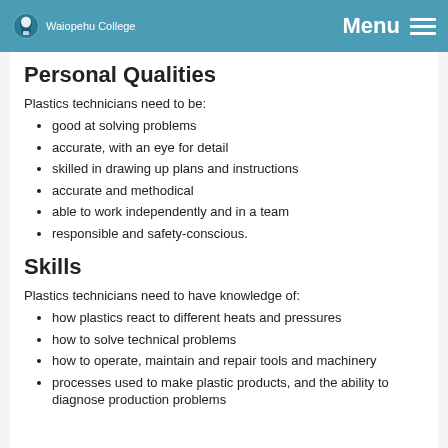Waiopehu College  Menu
Personal Qualities
Plastics technicians need to be:
good at solving problems
accurate, with an eye for detail
skilled in drawing up plans and instructions
accurate and methodical
able to work independently and in a team
responsible and safety-conscious.
Skills
Plastics technicians need to have knowledge of:
how plastics react to different heats and pressures
how to solve technical problems
how to operate, maintain and repair tools and machinery
processes used to make plastic products, and the ability to diagnose production problems